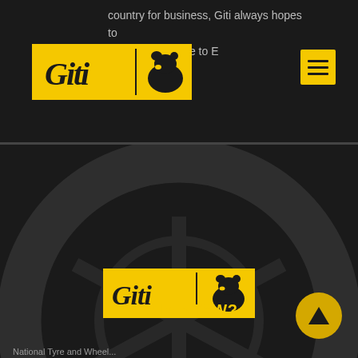country for business, Giti always hopes to product and service to E Driving.
[Figure (logo): Giti Tire logo on yellow background, top navigation bar]
[Figure (logo): Hamburger menu icon on yellow background]
[Figure (photo): Dark background section with tire silhouette]
[Figure (logo): Giti Tire logo centered on yellow background in dark section]
[Figure (logo): National Tyre & Wheel logo in white on dark background]
Who Is NTAW?
National Tyre and Wheel...